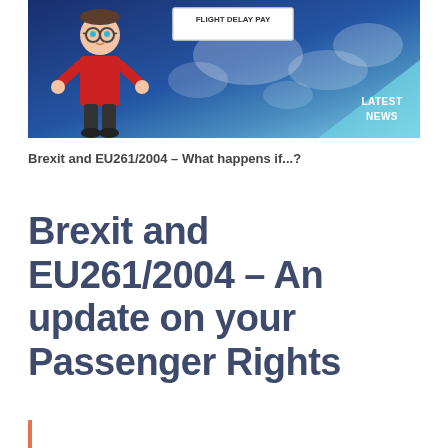[Figure (illustration): Hero banner image showing an animated cartoon character (man with glasses, red shirt) standing next to a sign reading 'FLIGHT DELAY PAY', with a world map background in blue tones. A 'LATEST NEWS' badge appears in the bottom-right corner of the image.]
Brexit and EU261/2004 – What happens if...?
Brexit and EU261/2004 – An update on your Passenger Rights